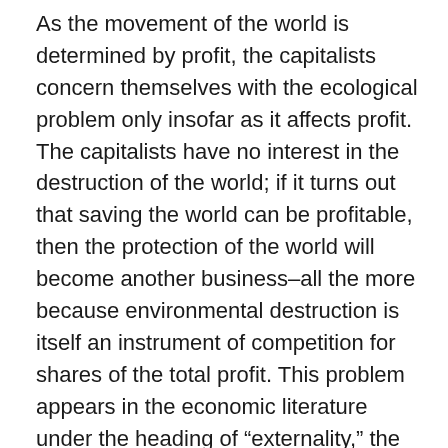As the movement of the world is determined by profit, the capitalists concern themselves with the ecological problem only insofar as it affects profit. The capitalists have no interest in the destruction of the world; if it turns out that saving the world can be profitable, then the protection of the world will become another business–all the more because environmental destruction is itself an instrument of competition for shares of the total profit. This problem appears in the economic literature under the heading of “externality,” the distinction between private effects and the social concomitant symptoms of capitalist production. Social phenomena are also ecological phenomena, as when the emission of pollutants of all sorts, which enter into natural cycles, finally destroys the necessary global balance of oxygen. In this way the destruction of the environment, which is often taken to be faster and more